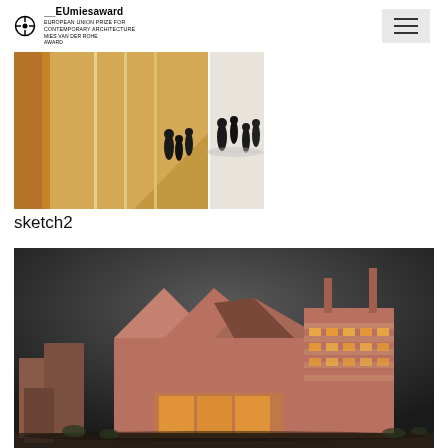EUmiesaward — European Union Prize for Contemporary Architecture — Mies van der Rohe Award
[Figure (illustration): Architectural sketch showing an interior perspective with people silhouettes, warm golden tones on left and black-and-white rendering on right]
sketch2
[Figure (photo): Architectural model photograph of a contemporary building complex with angular geometric forms in terracotta/brown tones, lit interior spaces visible, dark background]